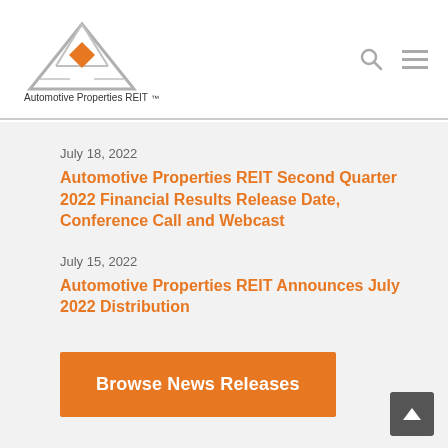[Figure (logo): Automotive Properties REIT logo — gray triangle outline with orange diamond accent, text below reads 'Automotive Properties REIT']
July 18, 2022
Automotive Properties REIT Second Quarter 2022 Financial Results Release Date, Conference Call and Webcast
July 15, 2022
Automotive Properties REIT Announces July 2022 Distribution
Browse News Releases